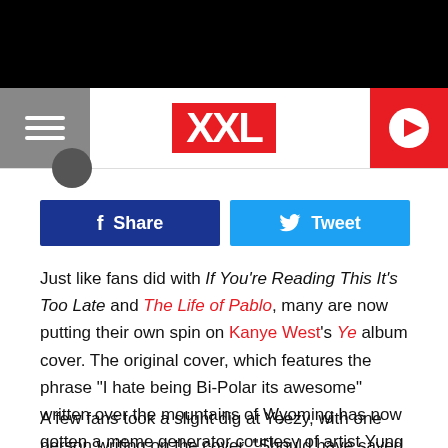XXL
[Figure (screenshot): Facebook Share button (dark blue) and Twitter Tweet button (light blue) side by side]
Just like fans did with If You're Reading This It's Too Late and The Life of Pablo, many are now putting their own spin on Kanye West's Ye album cover. The original cover, which features the phrase "I hate being Bi-Polar its awesome" written over the mountains of Wyoming has now gotten a meme generator courtesy of artist Yung Jake and developer Tim Bauman.
A few fans took a slight dig at Yeezy, with one person writing on the cover, "Should have saved the beats from Daytona for